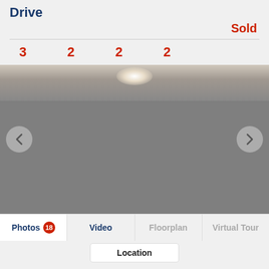Drive
Sold
3  2  2  2
[Figure (photo): Interior room photo showing a ceiling with recessed lighting, partially visible. Image is mostly grey/dark suggesting a loading or placeholder state.]
Photos 18  Video  Floorplan  Virtual Tour
Location